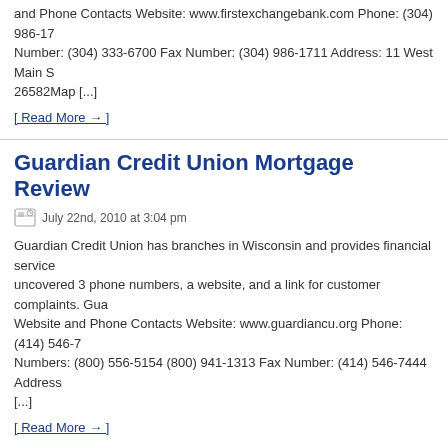and Phone Contacts Website: www.firstexchangebank.com Phone: (304) 986-17... Number: (304) 333-6700 Fax Number: (304) 986-1711 Address: 11 West Main S... 26582Map [...]
[ Read More → ]
Guardian Credit Union Mortgage Review
July 22nd, 2010 at 3:04 pm
Guardian Credit Union has branches in Wisconsin and provides financial service... uncovered 3 phone numbers, a website, and a link for customer complaints. Gua... Website and Phone Contacts Website: www.guardiancu.org Phone: (414) 546-7... Numbers: (800) 556-5154 (800) 941-1313 Fax Number: (414) 546-7444 Address... [...]
[ Read More → ]
HomeTrust Bank Mortgage Review
July 22nd, 2010 at 2:50 pm